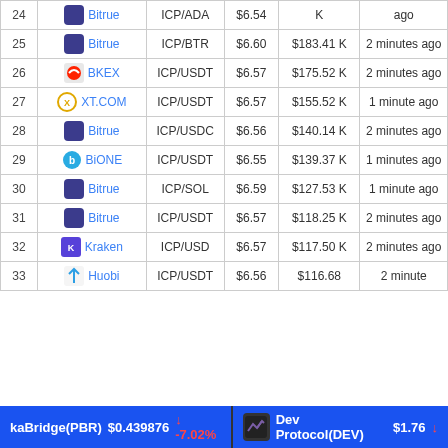| # | Exchange | Pair | Price | Volume | Updated |
| --- | --- | --- | --- | --- | --- |
| 24 | Bitrue | ICP/ADA | $6.54 | K | ago |
| 25 | Bitrue | ICP/BTR | $6.60 | $183.41 K | 2 minutes ago |
| 26 | BKEX | ICP/USDT | $6.57 | $175.52 K | 2 minutes ago |
| 27 | XT.COM | ICP/USDT | $6.57 | $155.52 K | 1 minute ago |
| 28 | Bitrue | ICP/USDC | $6.56 | $140.14 K | 2 minutes ago |
| 29 | BiONE | ICP/USDT | $6.55 | $139.37 K | 1 minutes ago |
| 30 | Bitrue | ICP/SOL | $6.59 | $127.53 K | 1 minute ago |
| 31 | Bitrue | ICP/USDT | $6.57 | $118.25 K | 2 minutes ago |
| 32 | Kraken | ICP/USD | $6.57 | $117.50 K | 2 minutes ago |
| 33 | Huobi | ICP/USDT | $6.56 | $116.68 | 2 minutes |
kaBridge(PBR) $0.439876 -7.02% | Dev Protocol(DEV) $1.76